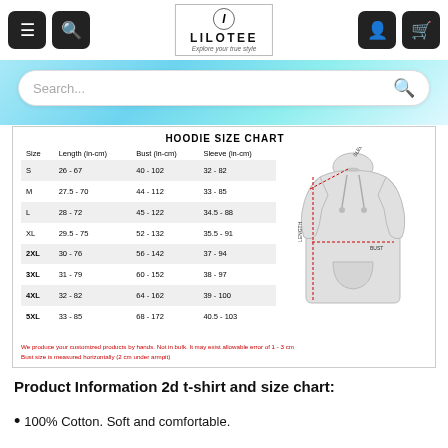[Figure (screenshot): Website header for LILOTEE with navigation buttons (menu, search, user, cart) and logo with tagline 'Explore your true style']
[Figure (screenshot): Search bar with placeholder 'Search...' on a light blue banner background]
| Size | Length (in-cm) | Bust (in-cm) | Sleeve (in-cm) |
| --- | --- | --- | --- |
| S | 26 - 67 | 40 - 102 | 32 - 82 |
| M | 27.5 - 70 | 44 - 112 | 33 - 85 |
| L | 28 - 72 | 45 - 122 | 34.5 - 88 |
| XL | 29.5 - 75 | 52 - 132 | 35.5 - 91 |
| 2XL | 30 - 76 | 56 - 142 | 37 - 94 |
| 3XL | 31 - 79 | 60 - 152 | 38 - 97 |
| 4XL | 32 - 82 | 64 - 162 | 39 - 100 |
| 5XL | 33 - 85 | 68 - 172 | 40.5 - 103 |
We produce your customized products by hands. Not in bulk. It may exist allowable error of 1 - 3 cm
Bust size is measured horizontally (2 cm under armpit)
Product Information 2d t-shirt and size chart:
100% Cotton. Soft and comfortable.